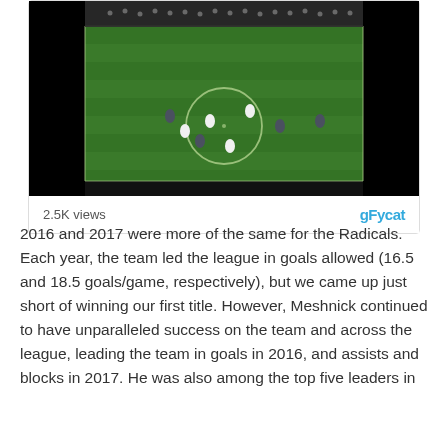[Figure (screenshot): A gfycat embedded video player showing a nighttime soccer/lacrosse match on a green field with players in white and dark uniforms. The video frame shows the field with a circle at center and several players mid-action. Below the video frame is a footer showing '2.5K views' on the left and the 'gFycat' logo in blue on the right.]
2016 and 2017 were more of the same for the Radicals. Each year, the team led the league in goals allowed (16.5 and 18.5 goals/game, respectively), but we came up just short of winning our first title. However, Meshnick continued to have unparalleled success on the team and across the league, leading the team in goals in 2016, and assists and blocks in 2017. He was also among the top five leaders in